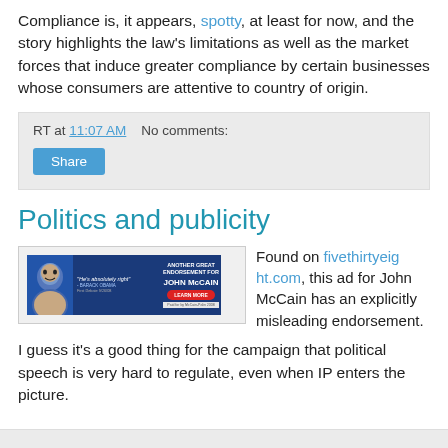Compliance is, it appears, spotty, at least for now, and the story highlights the law's limitations as well as the market forces that induce greater compliance by certain businesses whose consumers are attentive to country of origin.
RT at 11:07 AM   No comments:
Share
Politics and publicity
[Figure (screenshot): A political ad banner for John McCain featuring Barack Obama quote 'He's absolutely right' - Barack Obama, with text 'Another Great Endorsement for John McCain' and a Learn More button.]
Found on fivethirtyeight.com, this ad for John McCain has an explicitly misleading endorsement. I guess it's a good thing for the campaign that political speech is very hard to regulate, even when IP enters the picture.